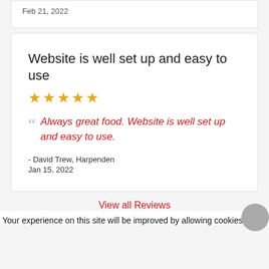Feb 21, 2022
Website is well set up and easy to use
★★★★★
Always great food. Website is well set up and easy to use.
- David Trew, Harpenden
Jan 15, 2022
View all Reviews
Your experience on this site will be improved by allowing cookies.